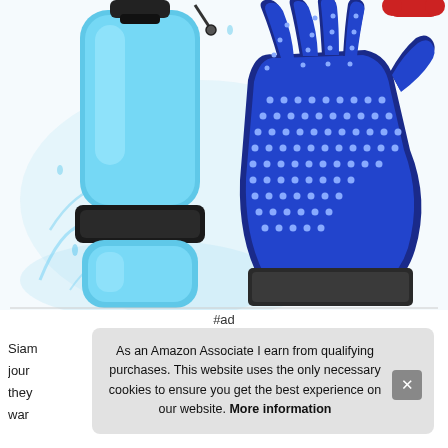[Figure (photo): Product photo showing a blue pet water bottle and a blue silicone pet grooming glove with rubber nubs, with water splashes in the background]
#ad
Siam
jour
they
war
As an Amazon Associate I earn from qualifying purchases. This website uses the only necessary cookies to ensure you get the best experience on our website. More information